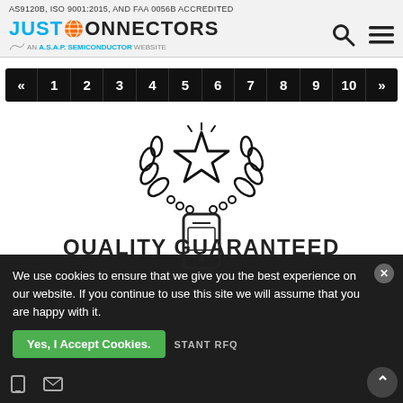AS9120B, ISO 9001:2015, AND FAA 0056B ACCREDITED
[Figure (logo): Just Connectors logo with globe icon and ASAP Semiconductor tagline]
« 1 2 3 4 5 6 7 8 9 10 »
[Figure (illustration): Quality guaranteed star/laurel wreath icon]
QUALITY GUARANTEED
We sell only warrantied and traceable parts
We use cookies to ensure that we give you the best experience on our website. If you continue to use this site we will assume that you are happy with it.
Yes, I Accept Cookies.